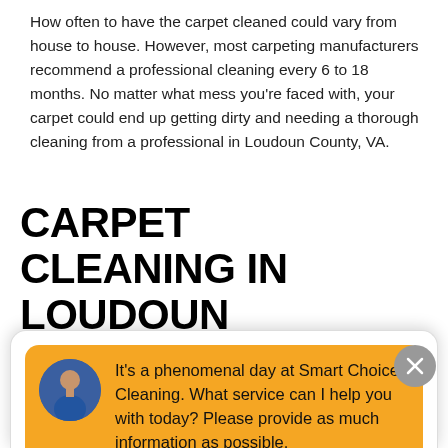How often to have the carpet cleaned could vary from house to house. However, most carpeting manufacturers recommend a professional cleaning every 6 to 18 months. No matter what mess you're faced with, your carpet could end up getting dirty and needing a thorough cleaning from a professional in Loudoun County, VA.
CARPET CLEANING IN LOUDOUN COUNTY,
[Figure (screenshot): Chat widget overlay with yellow background message bubble containing avatar photo of a man and text: 'It's a phenomenal day at Smart Choice Cleaning. What service can I help you with today? Please provide as much information as possible.' Below is a text input field with placeholder 'Write your message...' and a send button.]
certified by the Institute of Inspection Cleaning and Restoration Certification (IICRC), so your